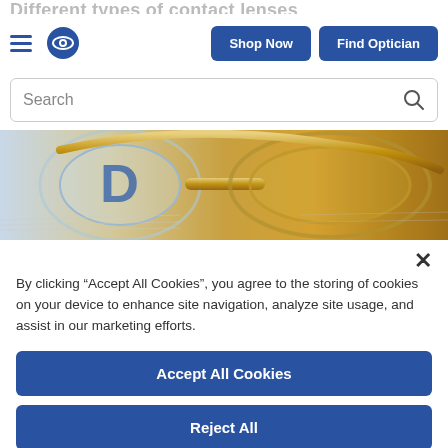Different types of contact lenses
Shop Now | Find Optician
Search
[Figure (photo): Close-up photo of gold-framed eyeglasses resting on a printed eye chart or document]
By clicking “Accept All Cookies”, you agree to the storing of cookies on your device to enhance site navigation, analyze site usage, and assist in our marketing efforts.
Accept All Cookies
Reject All
Cookies Settings